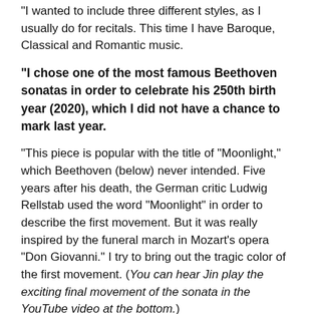“I wanted to include three different styles, as I usually do for recitals. This time I have Baroque, Classical and Romantic music.
“I chose one of the most famous Beethoven sonatas in order to celebrate his 250th birth year (2020), which I did not have a chance to mark last year.
“This piece is popular with the title of “Moonlight,” which Beethoven (below) never intended. Five years after his death, the German critic Ludwig Rellstab used the word “Moonlight” in order to describe the first movement. But it was really inspired by the funeral march in Mozart’s opera “Don Giovanni.” I try to bring out the tragic color of the first movement. (You can hear Jin play the exciting final movement of the sonata in the YouTube video at the bottom.)